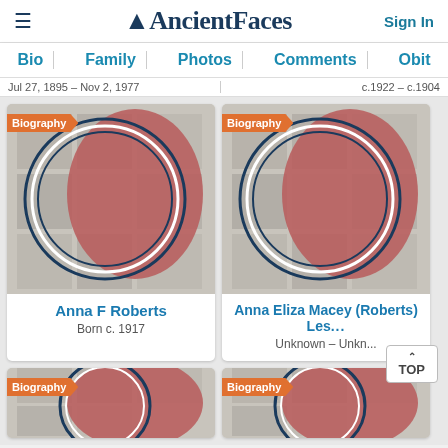AncientFaces — Sign In
Bio | Family | Photos | Comments | Obit
Jul 27, 1895 – Nov 2, 1977   c.1922 – c.1904
[Figure (photo): Profile card for Anna F Roberts with silhouette placeholder and collage background]
Anna F Roberts
Born c. 1917
[Figure (photo): Profile card for Anna Eliza Macey (Roberts) Les... with silhouette placeholder and collage background]
Anna Eliza Macey (Roberts) Les...
Unknown – Unkn...
[Figure (photo): Partial profile card bottom left with Biography badge]
[Figure (photo): Partial profile card bottom right with Biography badge]